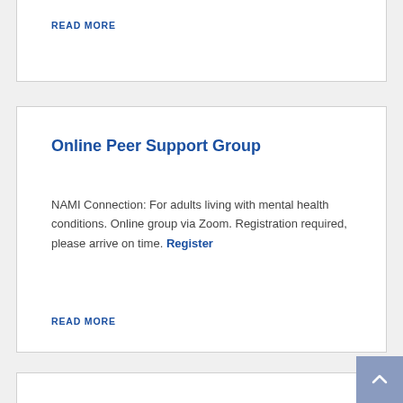READ MORE
Online Peer Support Group
NAMI Connection: For adults living with mental health conditions. Online group via Zoom. Registration required, please arrive on time. Register
READ MORE
Online Family Support Group – Group Full